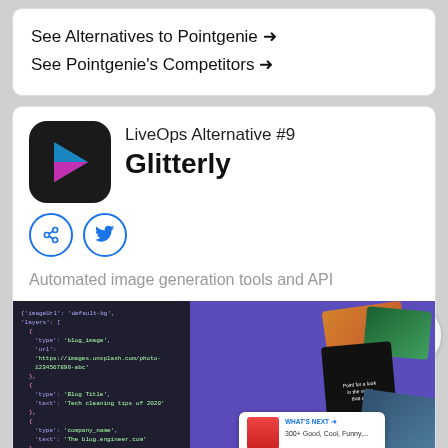See Alternatives to Pointgenie →
See Pointgenie's Competitors →
LiveOps Alternative #9
Glitterly
Automated image generation tools and API
[Figure (screenshot): Screenshot of Glitterly app showing code panel on left and image card examples on purple background on right]
WHAT'S NEXT → 300+ Good, Cool, Funny,...
0
HealthCare International
Rehabilitation Exercise Machine
OPEN